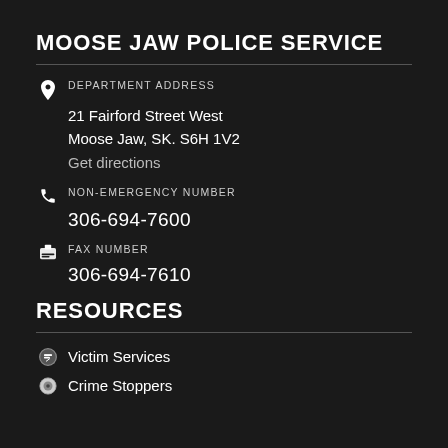MOOSE JAW POLICE SERVICE
DEPARTMENT ADDRESS
21 Fairford Street West
Moose Jaw, SK. S6H 1V2
Get directions
NON-EMERGENCY NUMBER
306-694-7600
FAX NUMBER
306-694-7610
RESOURCES
Victim Services
Crime Stoppers